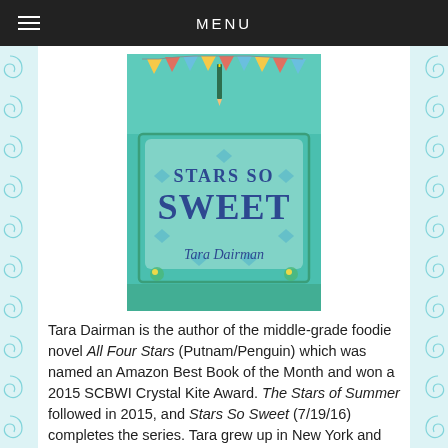MENU
[Figure (photo): Book cover of 'Stars So Sweet' by Tara Dairman — teal/mint background with diamond shapes and bunting, large bold title text]
Tara Dairman is the author of the middle-grade foodie novel All Four Stars (Putnam/Penguin) which was named an Amazon Best Book of the Month and won a 2015 SCBWI Crystal Kite Award. The Stars of Summer followed in 2015, and Stars So Sweet (7/19/16) completes the series. Tara grew up in New York and holds a B.A. in Creative Writing from Dartmouth College. After surviving the world's longest honeymoon (two years, seventy-four countries!), she now lives in